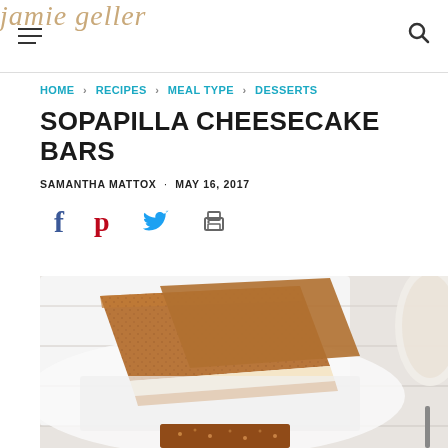jamie geller
HOME > RECIPES > MEAL TYPE > DESSERTS
SOPAPILLA CHEESECAKE BARS
SAMANTHA MATTOX · MAY 16, 2017
[Figure (other): Social share icons: Facebook, Pinterest, Twitter, Print]
[Figure (photo): Close-up photo of sopapilla cheesecake bars on a white plate, showing layered pastry with cream cheese filling and cinnamon sugar topping]